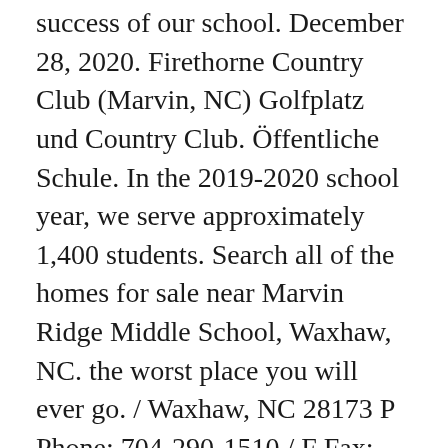success of our school. December 28, 2020. Firethorne Country Club (Marvin, NC) Golfplatz und Country Club. Öffentliche Schule. In the 2019-2020 school year, we serve approximately 1,400 students. Search all of the homes for sale near Marvin Ridge Middle School, Waxhaw, NC. the worst place you will ever go. / Waxhaw, NC 28173 P Phone: 704-290-1510 / F Fax: 704-243-0153 Sitemap Back To Top. Marvin Ridge Middle Media Center - Ferguson; Syllabus; Sandbox Term. The combined efforts of these stakeholders result in a top-notch middle school experience for our students. District Sponsors . Marvin Ridge students are making a difference in their community - every Saturday morning!! A place